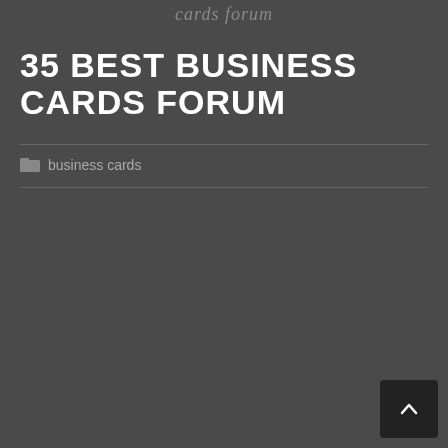cards forum
35 BEST BUSINESS CARDS FORUM
business cards